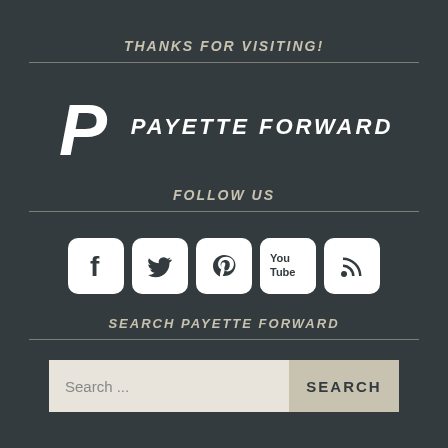THANKS FOR VISITING!
[Figure (logo): Payette Forward logo: stylized italic P followed by PAYETTE FORWARD text]
FOLLOW US
[Figure (infographic): Social media icons: Facebook, Twitter, Pinterest, YouTube, RSS]
SEARCH PAYETTE FORWARD
Search ...   SEARCH